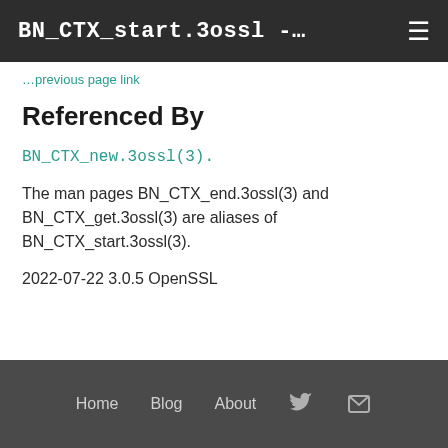BN_CTX_start.3ossl -…
Referenced By
BN_CTX_new.3ossl(3).
The man pages BN_CTX_end.3ossl(3) and BN_CTX_get.3ossl(3) are aliases of BN_CTX_start.3ossl(3).
2022-07-22 3.0.5 OpenSSL
Home   Blog   About